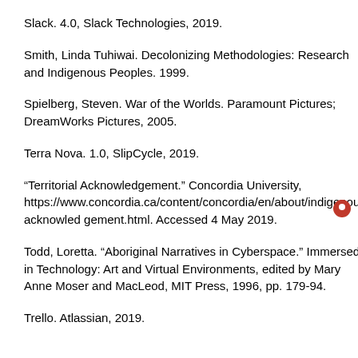Slack. 4.0, Slack Technologies, 2019.
Smith, Linda Tuhiwai. Decolonizing Methodologies: Research and Indigenous Peoples. 1999.
Spielberg, Steven. War of the Worlds. Paramount Pictures; DreamWorks Pictures, 2005.
Terra Nova. 1.0, SlipCycle, 2019.
“Territorial Acknowledgement.” Concordia University, https://www.concordia.ca/content/concordia/en/about/indigenous/t acknowled gement.html. Accessed 4 May 2019.
Todd, Loretta. “Aboriginal Narratives in Cyberspace.” Immersed in Technology: Art and Virtual Environments, edited by Mary Anne Moser and MacLeod, MIT Press, 1996, pp. 179-94.
Trello. Atlassian, 2019.